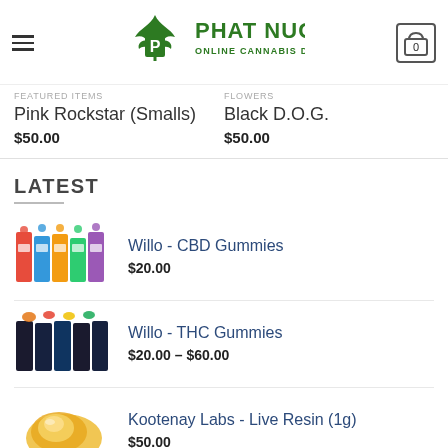[Figure (logo): Phat Nug Online Cannabis Dispensary logo with cannabis leaf]
FEATURED ITEMS
Pink Rockstar (Smalls)
$50.00
FLOWERS
Black D.O.G.
$50.00
LATEST
Willo - CBD Gummies $20.00
Willo - THC Gummies $20.00 – $60.00
Kootenay Labs - Live Resin (1g) $50.00